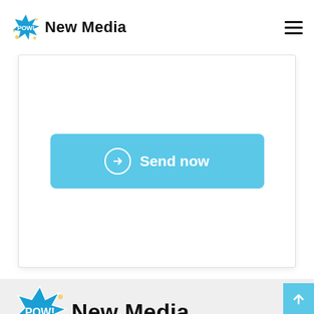POW! New Media
[Figure (screenshot): White card section with a light blue 'Send now' button featuring a right-arrow circle icon]
[Figure (logo): POW! New Media logo with comic-style explosion graphic and bold text]
POW is a full-service branding & creative agency specializing in brand development, graphic design, web